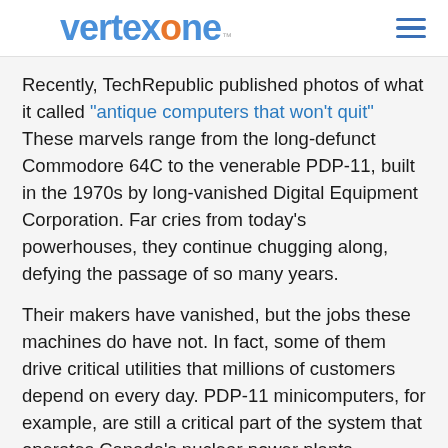vertexone
Recently, TechRepublic published photos of what it called "antique computers that won't quit" These marvels range from the long-defunct Commodore 64C to the venerable PDP-11, built in the 1970s by long-vanished Digital Equipment Corporation. Far cries from today's powerhouses, they continue chugging along, defying the passage of so many years.
Their makers have vanished, but the jobs these machines do have not. In fact, some of them drive critical utilities that millions of customers depend on every day. PDP-11 minicomputers, for example, are still a critical part of the system that operates Canada's nuclear power plants. General Electric Canada doesn't plan to replace them until the year 2050